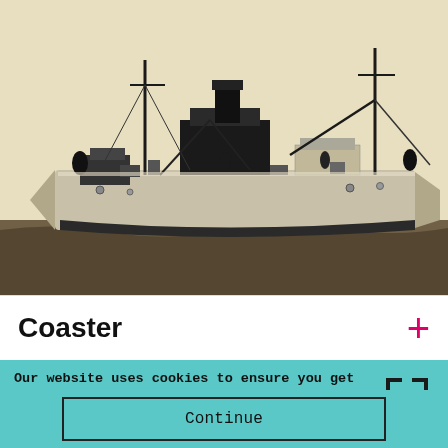[Figure (photo): Black and white photograph of a coaster ship at sea, showing the vessel's profile with masts, crane booms, and superstructure against a light sky.]
Coaster
Our website uses cookies to ensure you get the best possible experience whist visiting our website. → Find out more
Continue